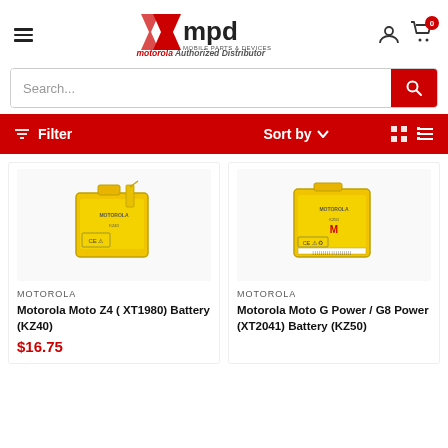[Figure (logo): MPD Mobile Parts & Devices logo with motorola Authorized Distributor text]
Search...
Filter   Sort by
[Figure (photo): Motorola Moto Z4 (XT1980) Battery (KZ40) product photo - yellow rectangular battery]
MOTOROLA
Motorola Moto Z4 ( XT1980) Battery (KZ40)
$16.75
[Figure (photo): Motorola Moto G Power / G8 Power (XT2041) Battery (KZ50) product photo - yellow rectangular battery]
MOTOROLA
Motorola Moto G Power / G8 Power (XT2041) Battery (KZ50)